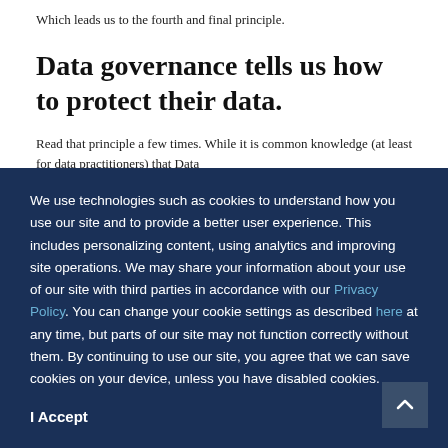Which leads us to the fourth and final principle.
Data governance tells us how to protect their data.
Read that principle a few times. While it is common knowledge (at least for data practitioners) that Data
We use technologies such as cookies to understand how you use our site and to provide a better user experience. This includes personalizing content, using analytics and improving site operations. We may share your information about your use of our site with third parties in accordance with our Privacy Policy. You can change your cookie settings as described here at any time, but parts of our site may not function correctly without them. By continuing to use our site, you agree that we can save cookies on your device, unless you have disabled cookies.
I Accept